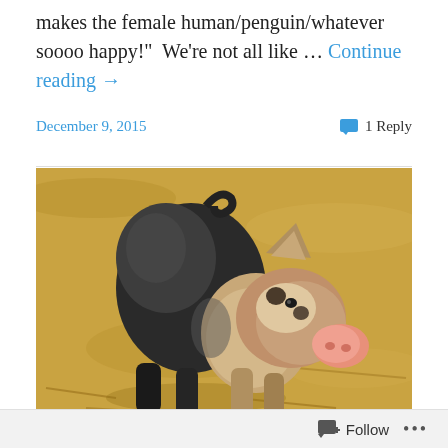makes the female human/penguin/whatever soooo happy!"  We're not all like ... Continue reading →
December 9, 2015
1 Reply
[Figure (photo): A small pig with dark and light coloring (black and white/tan) standing on dry golden straw/hay ground, viewed from the side-rear, with its pink snout visible as it turns its head.]
Follow  ...